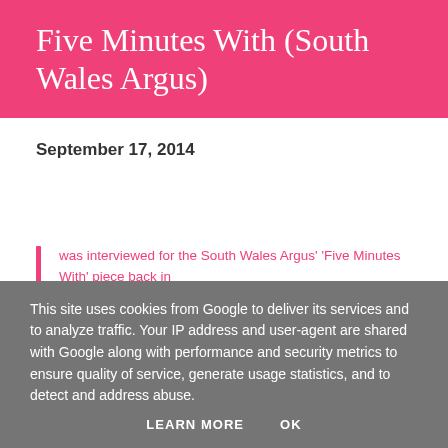Five Minutes With (South Wales Argus)
September 17, 2014
was interviewed for the South Wales Argus' 'Five Minutes With' piece back in December 2012. You can read it on their website HERE.
This site uses cookies from Google to deliver its services and to analyze traffic. Your IP address and user-agent are shared with Google along with performance and security metrics to ensure quality of service, generate usage statistics, and to detect and address abuse.
LEARN MORE   OK